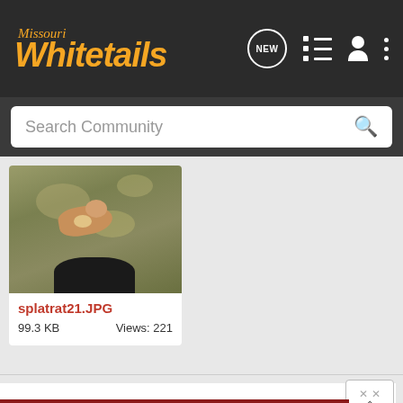Missouri Whitetails
Search Community
[Figure (photo): Overhead photo of a deer or animal on grass/ground, taken from above, with dark shape at bottom edge. Filename: splatrat21.JPG, 99.3 KB, Views: 221]
splatrat21.JPG
99.3 KB    Views: 221
Build a man a fire, and he's warm for a day. Set a man on fire, and he's warm for the rest of his life.
[Figure (infographic): Cabela's Bargain Cave - Hunting Clearance advertisement with SHOP NOW button]